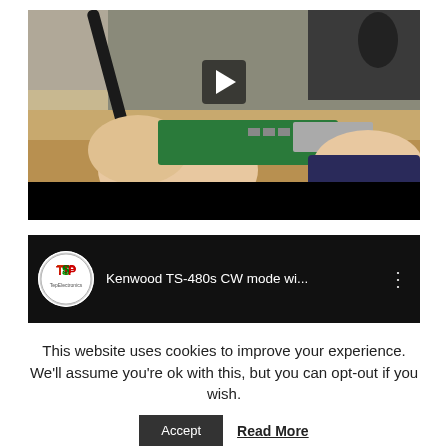[Figure (screenshot): Video thumbnail showing hands holding a green circuit board/PCB with a radio transceiver in the background. A play button is overlaid in the center. Bottom portion is black.]
[Figure (screenshot): YouTube-style video card with TSP channel logo on the left and video title 'Kenwood TS-480s CW mode wi...' in white text on black background, with three-dot menu icon on the right.]
This website uses cookies to improve your experience. We'll assume you're ok with this, but you can opt-out if you wish.
Accept
Read More